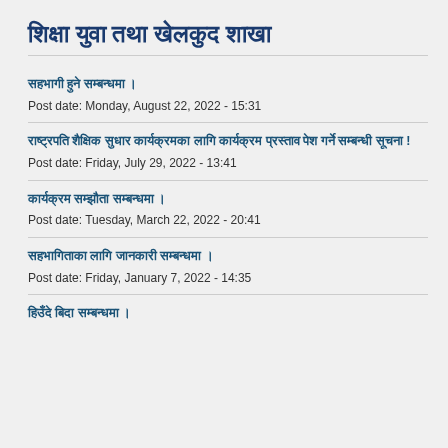शिक्षा युवा तथा खेलकुद शाखा
सहभागी हुने सम्बन्धमा ।
Post date: Monday, August 22, 2022 - 15:31
राष्ट्रपति शैक्षिक सुधार कार्यक्रमका लागि कार्यक्रम प्रस्ताव पेश गर्ने सम्बन्धी सूचना !
Post date: Friday, July 29, 2022 - 13:41
कार्यक्रम सम्झौता सम्बन्धमा ।
Post date: Tuesday, March 22, 2022 - 20:41
सहभागिताका लागि जानकारी सम्बन्धमा ।
Post date: Friday, January 7, 2022 - 14:35
हिउँदे बिदा सम्बन्धमा ।